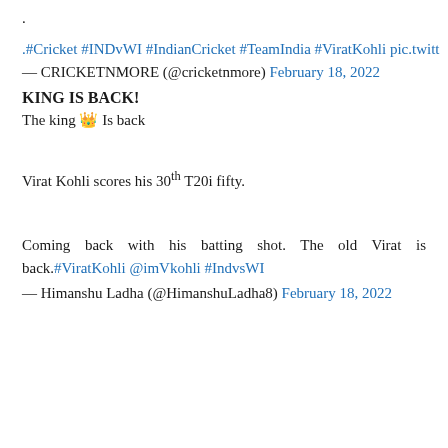.
.#Cricket #INDvWI #IndianCricket #TeamIndia #ViratKohli pic.twitt
— CRICKETNMORE (@cricketnmore) February 18, 2022
KING IS BACK!
The king 👑 Is back
Virat Kohli scores his 30th T20i fifty.
Coming back with his batting shot. The old Virat is back.#ViratKohli @imVkohli #IndvsWI
— Himanshu Ladha (@HimanshuLadha8) February 18, 2022